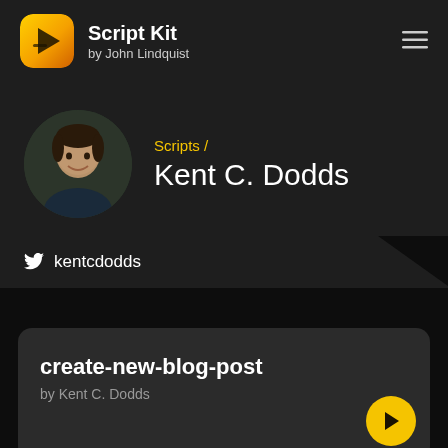Script Kit by John Lindquist
Scripts / Kent C. Dodds
kentcdodds
create-new-blog-post
by Kent C. Dodds